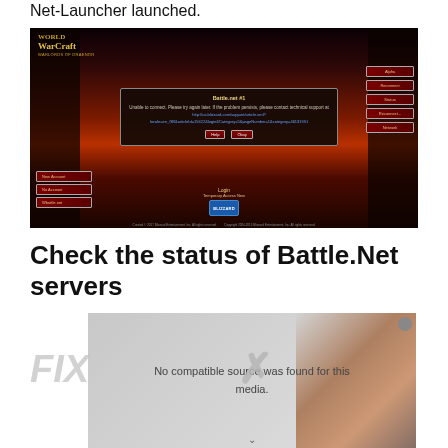Net-Launcher launched.
[Figure (screenshot): World of Warcraft login screen screenshot showing an error dialog 'Battle.net #1' with message 'Unable to connect. Please try again later. If the problem persists, please contact technical support at http://us.blizzard.com/support/article.xml?locale=en_GB&articleId=19422&login&Category=5&pageNumber=1&category=46131991' and buttons including Help, and Okay. The login screen shows the WoW logo, side menu buttons, and Blizzard logo.]
Check the status of Battle.Net servers
[Figure (screenshot): Video player placeholder showing 'No compatible source was found for this media.' with FIX text overlay and X mark, partially showing a WoW character image in background.]